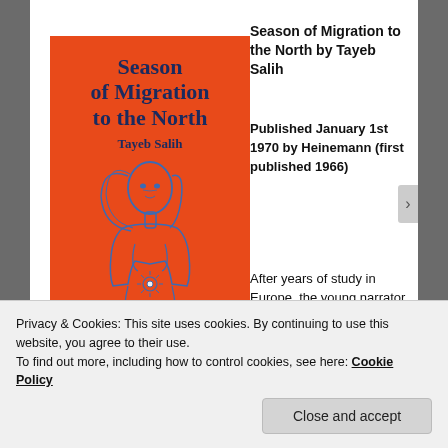[Figure (illustration): Book cover for 'Season of Migration to the North' by Tayeb Salih. Orange background with blue illustration of a female figure and bold dark blue title text.]
Season of Migration to the North by Tayeb Salih
Published January 1st 1970 by Heinemann (first published 1966)
After years of study in Europe, the young narrator of
Privacy & Cookies: This site uses cookies. By continuing to use this website, you agree to their use.
To find out more, including how to control cookies, see here: Cookie Policy
Close and accept